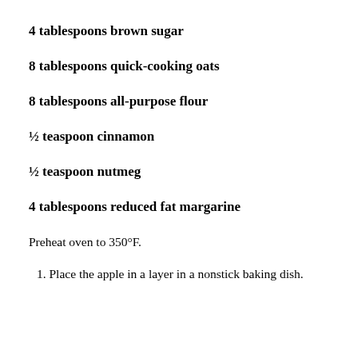4 tablespoons brown sugar
8 tablespoons quick-cooking oats
8 tablespoons all-purpose flour
½ teaspoon cinnamon
½ teaspoon nutmeg
4 tablespoons reduced fat margarine
Preheat oven to 350°F.
1. Place the apple in a layer in a nonstick baking dish.